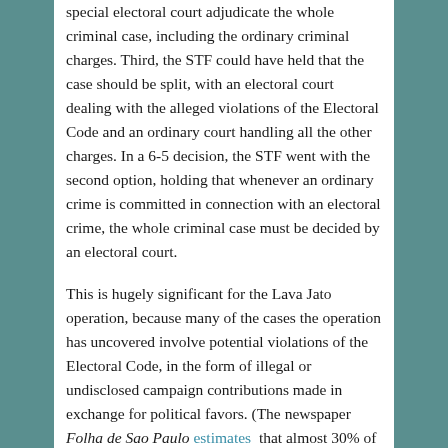special electoral court adjudicate the whole criminal case, including the ordinary criminal charges. Third, the STF could have held that the case should be split, with an electoral court dealing with the alleged violations of the Electoral Code and an ordinary court handling all the other charges. In a 6-5 decision, the STF went with the second option, holding that whenever an ordinary crime is committed in connection with an electoral crime, the whole criminal case must be decided by an electoral court.
This is hugely significant for the Lava Jato operation, because many of the cases the operation has uncovered involve potential violations of the Electoral Code, in the form of illegal or undisclosed campaign contributions made in exchange for political favors. (The newspaper Folha de Sao Paulo estimates that almost 30% of Lava Jato's rulings touch discussions of illegal campaign finance.) But although some cases related to Lava Jato have gone to the electoral courts, most of the cases, including all of the main criminal cases, have been prosecuted in the ordinary courts. Federal prosecutors,